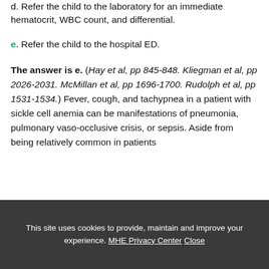d. Refer the child to the laboratory for an immediate hematocrit, WBC count, and differential.
e. Refer the child to the hospital ED.
The answer is e. (Hay et al, pp 845-848. Kliegman et al, pp 2026-2031. McMillan et al, pp 1696-1700. Rudolph et al, pp 1531-1534.) Fever, cough, and tachypnea in a patient with sickle cell anemia can be manifestations of pneumonia, pulmonary vaso-occlusive crisis, or sepsis. Aside from being relatively common in patients
This site uses cookies to provide, maintain and improve your experience. MHE Privacy Center Close